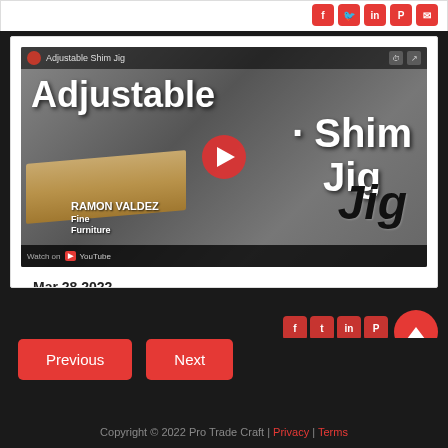[Figure (screenshot): YouTube video thumbnail for 'Adjustable Shim Jig' by Ramon Valdez Fine Furniture, showing woodworking jig on table saw with large text overlay and play button]
Mar 28 2022
Videos // Trimwork & Cabinetry, Woodworking
Adjustable Shim Jig for Table S…
Previous   Next
Copyright © 2022 Pro Trade Craft | Privacy | Terms